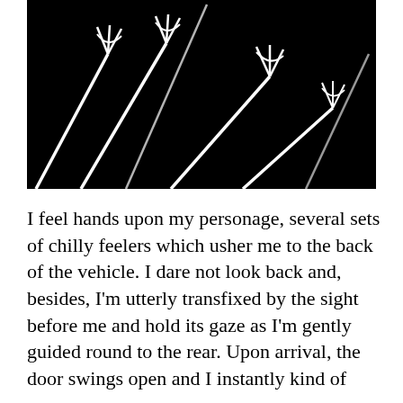[Figure (illustration): Black and white high-contrast image on a black background showing several white fork-like or claw-like shapes with long diagonal handles/lines extending across the frame, resembling stylized forks seen from above at an angle.]
I feel hands upon my personage, several sets of chilly feelers which usher me to the back of the vehicle. I dare not look back and, besides, I'm utterly transfixed by the sight before me and hold its gaze as I'm gently guided round to the rear. Upon arrival, the door swings open and I instantly kind of